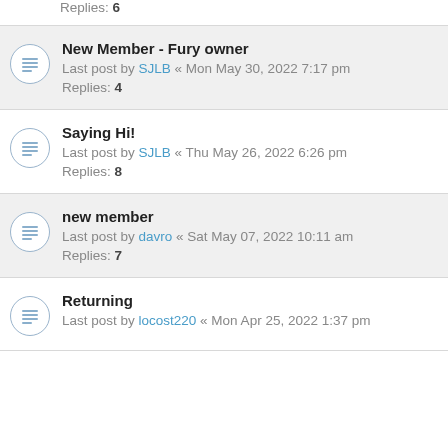Replies: 6
New Member - Fury owner
Last post by SJLB « Mon May 30, 2022 7:17 pm
Replies: 4
Saying Hi!
Last post by SJLB « Thu May 26, 2022 6:26 pm
Replies: 8
new member
Last post by davro « Sat May 07, 2022 10:11 am
Replies: 7
Returning
Last post by locost220 « Mon Apr 25, 2022 1:37 pm